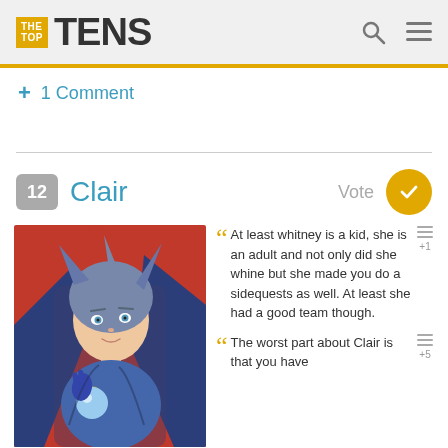THE TOP TENS
+ 1 Comment
12 Clair Vote
[Figure (illustration): Anime-style illustration of Clair, a Pokemon gym leader with blue-gray hair, blue outfit, and a red cape, holding a blue orb.]
At least whitney is a kid, she is an adult and not only did she whine but she made you do a sidequests as well. At least she had a good team though.
The worst part about Clair is that you have